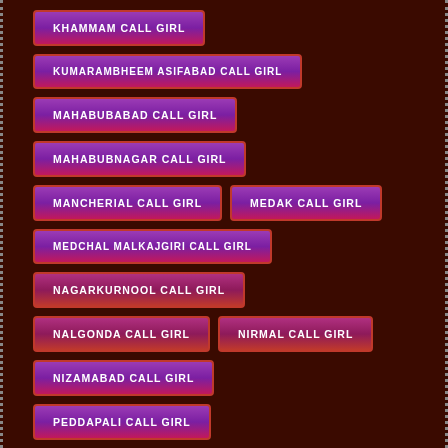KHAMMAM CALL GIRL
KUMARAMBHEEM ASIFABAD CALL GIRL
MAHABUBABAD CALL GIRL
MAHABUBNAGAR CALL GIRL
MANCHERIAL CALL GIRL
MEDAK CALL GIRL
MEDCHAL MALKAJGIRI CALL GIRL
NAGARKURNOOL CALL GIRL
NALGONDA CALL GIRL
NIRMAL CALL GIRL
NIZAMABAD CALL GIRL
PEDDAPALI CALL GIRL